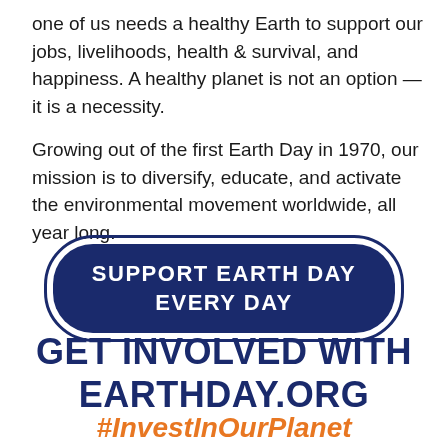one of us needs a healthy Earth to support our jobs, livelihoods, health & survival, and happiness. A healthy planet is not an option — it is a necessity.

Growing out of the first Earth Day in 1970, our mission is to diversify, educate, and activate the environmental movement worldwide, all year long.
[Figure (other): A dark navy rounded button with white bold uppercase text reading: SUPPORT EARTH DAY EVERY DAY]
GET INVOLVED WITH EARTHDAY.ORG
#InvestInOurPlanet